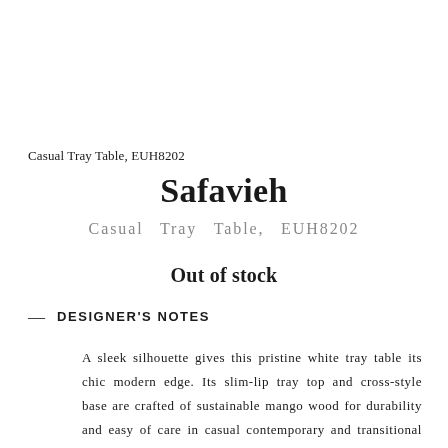Casual Tray Table, EUH8202
Safavieh
Casual Tray Table, EUH8202
Out of stock
— DESIGNER'S NOTES
A sleek silhouette gives this pristine white tray table its chic modern edge. Its slim-lip tray top and cross-style base are crafted of sustainable mango wood for durability and easy of care in casual contemporary and transitional homes.